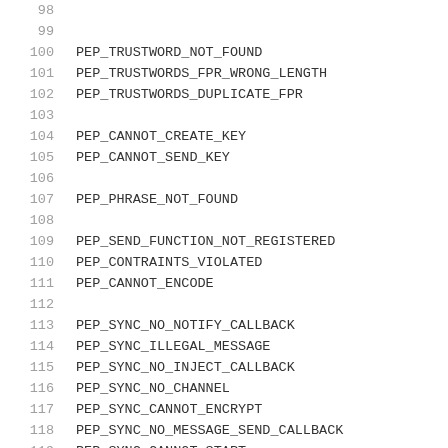98
99
100 PEP_TRUSTWORD_NOT_FOUND
101 PEP_TRUSTWORDS_FPR_WRONG_LENGTH
102 PEP_TRUSTWORDS_DUPLICATE_FPR
103
104 PEP_CANNOT_CREATE_KEY
105 PEP_CANNOT_SEND_KEY
106
107 PEP_PHRASE_NOT_FOUND
108
109 PEP_SEND_FUNCTION_NOT_REGISTERED
110 PEP_CONTRAINTS_VIOLATED
111 PEP_CANNOT_ENCODE
112
113 PEP_SYNC_NO_NOTIFY_CALLBACK
114 PEP_SYNC_ILLEGAL_MESSAGE
115 PEP_SYNC_NO_INJECT_CALLBACK
116 PEP_SYNC_NO_CHANNEL
117 PEP_SYNC_CANNOT_ENCRYPT
118 PEP_SYNC_NO_MESSAGE_SEND_CALLBACK
119 PEP_SYNC_CANNOT_START
120